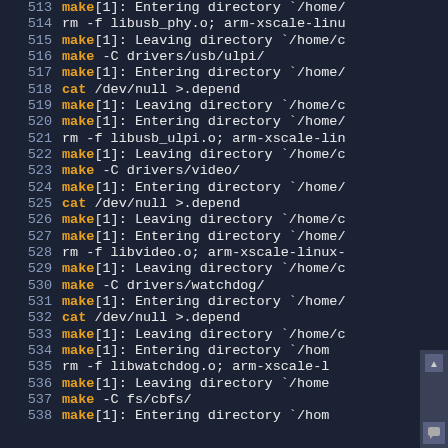[Figure (screenshot): Terminal/console output showing a build process log with line numbers 513-538. Lines alternate between make commands (in orange/bold) and shell commands, showing compilation steps for USB, video, and watchdog drivers. Background is dark navy blue. Line numbers are in muted blue-grey on the left.]